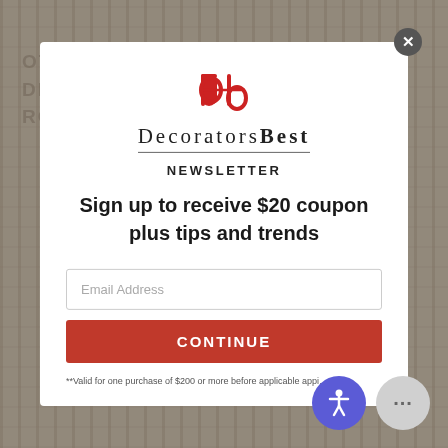[Figure (screenshot): DecoratorsBest newsletter signup modal overlay on a fabric product page background. The modal contains the DecoratorsBest logo (red 'db' icon and text), a NEWSLETTER heading, promotional text 'Sign up to receive $20 coupon plus tips and trends', an email input field, a red CONTINUE button, and fine-print disclaimer. Background shows fabric texture with watermark text 'OTHER COLORS FOR DECORATORSBEST ROLLO SURF FABRIC'. Accessibility and chat widgets visible at bottom right.]